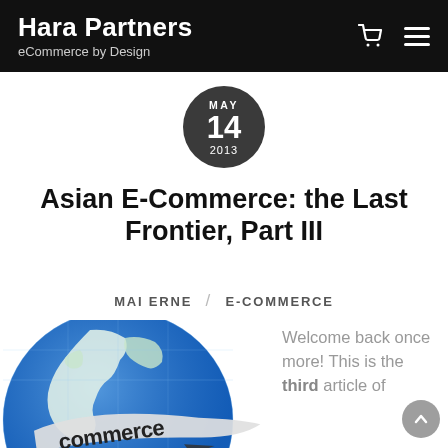Hara Partners / eCommerce by Design
MAY 14 2013
Asian E-Commerce: the Last Frontier, Part III
MAI ERNE / E-Commerce
[Figure (illustration): Globe illustration with eCommerce text banner]
Welcome back once more! This is the third article of